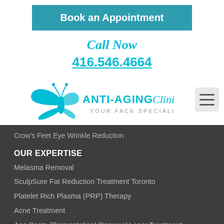Book an Appointment
Call Now
416.546.4664
[Figure (logo): Anti-Aging Clinic logo with teal butterfly and text 'ANTI-AGING Clinic YOUR FACE SPECIALIST']
Crow's Feet Eye Wrinkle Reduction
OUR EXPERTISE
Melasma Removal
SculpSure Fat Reduction Treatment Toronto
Platelet Rich Plasma (PRP) Therapy
Acne Treatment
Age Spots (Pigmentation) Removal Laser Treatment
Chemical Face Peel Toronto